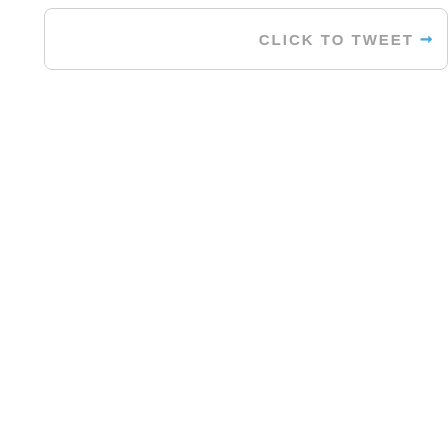[Figure (screenshot): A 'CLICK TO TWEET' button widget with rounded border, gray uppercase text and a blue arrow icon, positioned at the top of the page. The rest of the page is blank white.]